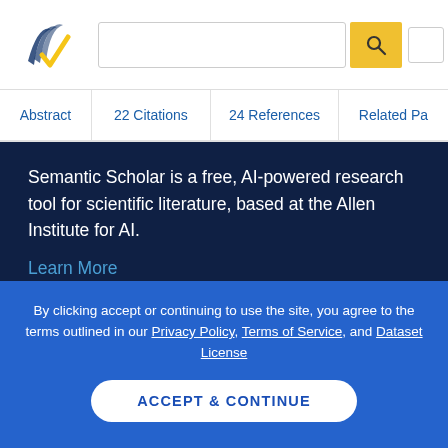[Figure (logo): Semantic Scholar logo — stylized open book pages with a gold checkmark]
Abstract | 22 Citations | 24 References | Related Pa...
Semantic Scholar is a free, AI-powered research tool for scientific literature, based at the Allen Institute for AI.
Learn More
About
By clicking accept or continuing to use the site, you agree to the terms outlined in our Privacy Policy, Terms of Service, and Dataset License
ACCEPT & CONTINUE